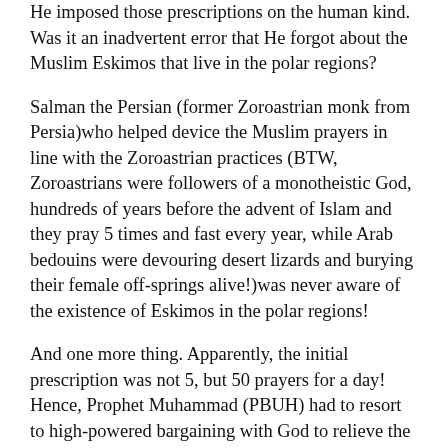He imposed those prescriptions on the human kind. Was it an inadvertent error that He forgot about the Muslim Eskimos that live in the polar regions?
Salman the Persian (former Zoroastrian monk from Persia)who helped device the Muslim prayers in line with the Zoroastrian practices (BTW, Zoroastrians were followers of a monotheistic God, hundreds of years before the advent of Islam and they pray 5 times and fast every year, while Arab bedouins were devouring desert lizards and burying their female off-springs alive!)was never aware of the existence of Eskimos in the polar regions!
And one more thing. Apparently, the initial prescription was not 5, but 50 prayers for a day! Hence, Prophet Muhammad (PBUH) had to resort to high-powered bargaining with God to relieve the burden of prayers on the people. Did someone think